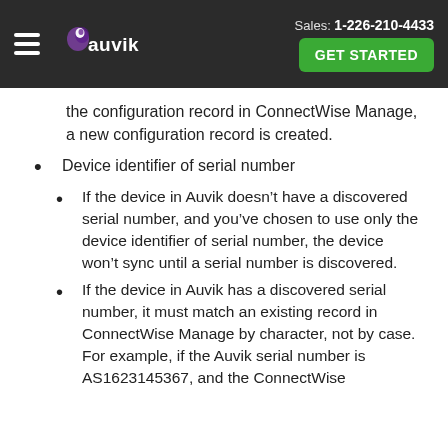Sales: 1-226-210-4433  GET STARTED
the configuration record in ConnectWise Manage, a new configuration record is created.
Device identifier of serial number
If the device in Auvik doesn't have a discovered serial number, and you've chosen to use only the device identifier of serial number, the device won't sync until a serial number is discovered.
If the device in Auvik has a discovered serial number, it must match an existing record in ConnectWise Manage by character, not by case. For example, if the Auvik serial number is AS1623145367, and the ConnectWise